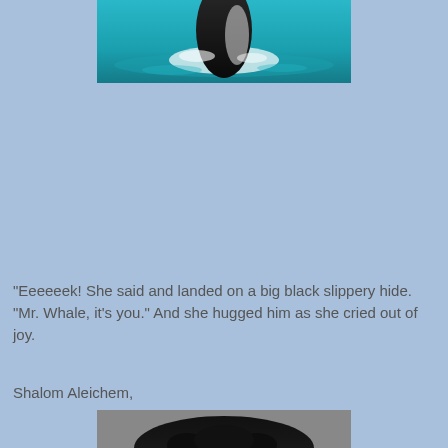[Figure (photo): A humpback whale breaching out of turquoise ocean water, partially visible from top of frame.]
“Eeeeeek! She said and landed on a big black slippery hide. “Mr. Whale, it’s you.” And she hugged him as she cried out of joy.
Shalom Aleichem,
[Figure (photo): A portrait photo showing the top of a person's head with dark curly hair.]